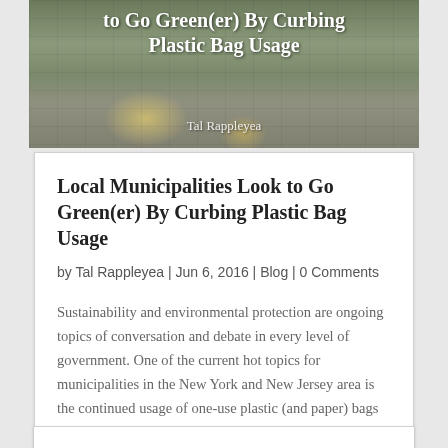[Figure (photo): Hero image showing legs of a person walking on cobblestones, carrying a yellow bag, with overlaid text about the article title and author]
Local Municipalities Look to Go Green(er) By Curbing Plastic Bag Usage
by Tal Rappleyea | Jun 6, 2016 | Blog | 0 Comments
Sustainability and environmental protection are ongoing topics of conversation and debate in every level of government. One of the current hot topics for municipalities in the New York and New Jersey area is the continued usage of one-use plastic (and paper) bags in...